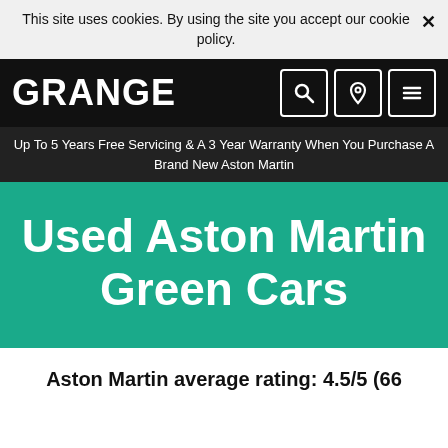This site uses cookies. By using the site you accept our cookie policy.
GRANGE
Up To 5 Years Free Servicing & A 3 Year Warranty When You Purchase A Brand New Aston Martin
Used Aston Martin Green Cars
Aston Martin average rating: 4.5/5 (66